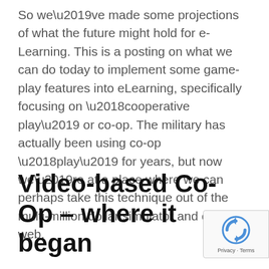So we’ve made some projections of what the future might hold for e-Learning. This is a posting on what we can do today to implement some game-play features into eLearning, specifically focusing on ‘cooperative play’ or co-op. The military has actually been using co-op ‘play’ for years, but now we’re at a place where we can perhaps take this technique out of the multi-million dollar simulator and onto the web.
Video-based Co-Op – where it began